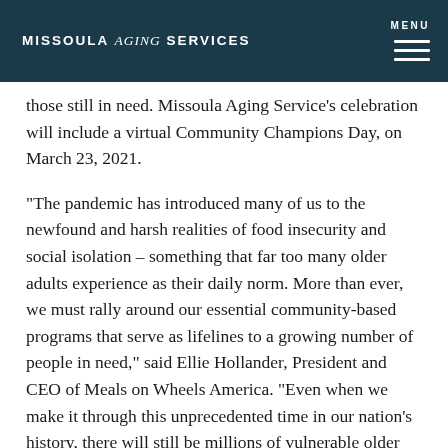MISSOULA aging SERVICES | MENU
those still in need. Missoula Aging Service’s celebration will include a virtual Community Champions Day, on March 23, 2021.
“The pandemic has introduced many of us to the newfound and harsh realities of food insecurity and social isolation – something that far too many older adults experience as their daily norm. More than ever, we must rally around our essential community-based programs that serve as lifelines to a growing number of people in need,” said Ellie Hollander, President and CEO of Meals on Wheels America. “Even when we make it through this unprecedented time in our nation's history, there will still be millions of vulnerable older